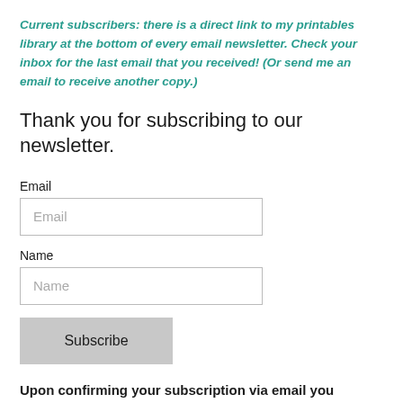Current subscribers: there is a direct link to my printables library at the bottom of every email newsletter. Check your inbox for the last email that you received! (Or send me an email to receive another copy.)
Thank you for subscribing to our newsletter.
Email
Name
Subscribe
Upon confirming your subscription via email you